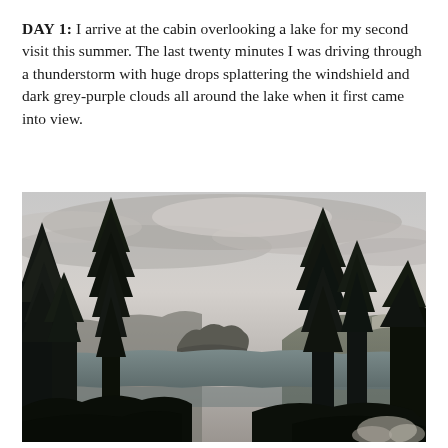DAY 1: I arrive at the cabin overlooking a lake for my second visit this summer. The last twenty minutes I was driving through a thunderstorm with huge drops splattering the windshield and dark grey-purple clouds all around the lake when it first came into view.
[Figure (photo): Photograph of a lake viewed through tall dark evergreen trees under a heavy overcast sky with grey clouds. Hills and a rocky promontory are visible across the lake. The scene is moody and stormy.]